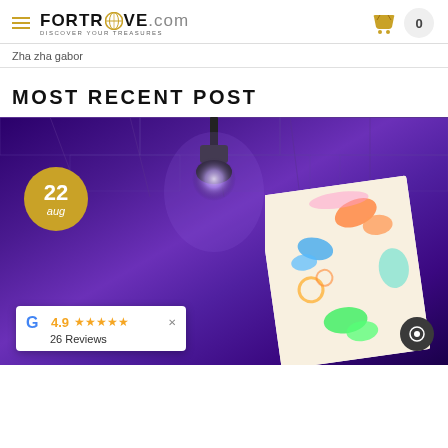FORTROVE.com — Discover Your Treasures
Zha zha gabor
MOST RECENT POST
[Figure (photo): Photo of an art event under purple stage lighting with a colorful painted canvas featuring butterflies, overlaid with a date badge '22 aug' in gold, a Google review widget showing 4.9 stars and 26 Reviews, and a chat button.]